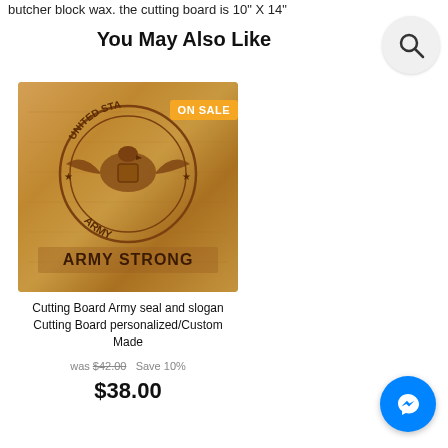butcher block wax. the cutting board is 10" X 14"
You May Also Like
[Figure (photo): Photo of a wooden cutting board engraved with United States Army seal and text 'ARMY STRONG', with an orange 'ON SALE' badge in the top right corner.]
Cutting Board Army seal and slogan Cutting Board personalized/Custom Made
was $42.00   Save 10%
$38.00